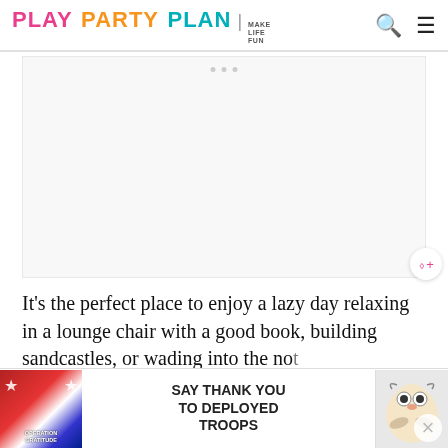PLAY PARTY PLAN | MAKE LIFE FUN
[Figure (other): Advertisement placeholder area with three gray dots indicating ad loading]
It's the perfect place to enjoy a lazy day relaxing in a lounge chair with a good book, building sandcastles, or wading into the not too deep gulf waters. And when you're done, with...
[Figure (other): Operation Gratitude banner advertisement: 'SAY THANK YOU TO DEPLOYED TROOPS' with patriotic imagery including stars, American flag motifs, and a cartoon owl mascot]